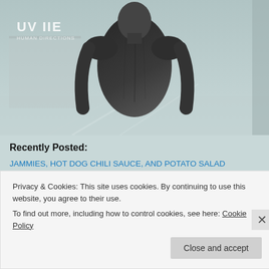[Figure (photo): Grayscale photo of a person viewed from behind wearing a dark long-sleeve shirt, standing in front of a blurred industrial or urban background. Top-left shows partial logo text 'UV IIE' with smaller text below.]
Recently Posted:
JAMMIES, HOT DOG CHILI SAUCE, AND POTATO SALAD
POETRY UN-COMPETITION
HEY, HI, HELLO AND A GRUMPIN' (at YT cooks) WE WILL GO!
THE WORLD HAS GONE NUCKING FUTS, ALSO EGG TOAST AND
Privacy & Cookies: This site uses cookies. By continuing to use this website, you agree to their use.
To find out more, including how to control cookies, see here: Cookie Policy
Close and accept